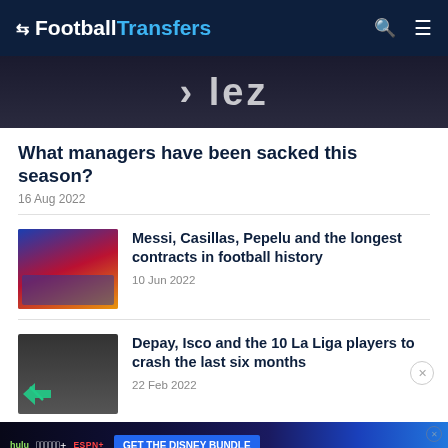FootballTransfers
[Figure (photo): Dark image with text 'lez' visible, football jersey background]
What managers have been sacked this season?
16 Aug 2022
[Figure (photo): Messi in Barcelona blue/red kit pointing]
Messi, Casillas, Pepelu and the longest contracts in football history
10 Jun 2022
[Figure (photo): Player in dark hoodie with hand on chin]
Depay, Isco and the 10 La Liga players to crash the last six months
22 Feb 2022
[Figure (screenshot): Disney Bundle ad: hulu, Disney+, ESPN+ - GET THE DISNEY BUNDLE]
[Figure (photo): Partially visible article image at bottom]
La Liga